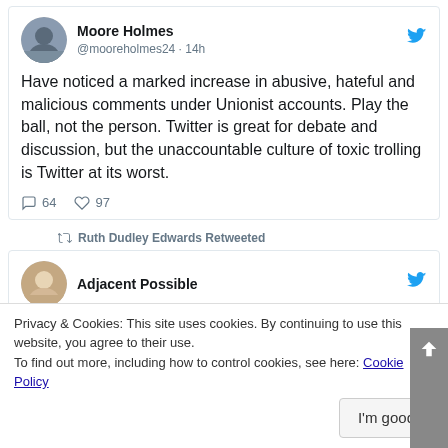[Figure (other): Tweet from Moore Holmes (@mooreholmes24 · 14h) with profile avatar photo and Twitter bird icon]
Have noticed a marked increase in abusive, hateful and malicious comments under Unionist accounts. Play the ball, not the person. Twitter is great for debate and discussion, but the unaccountable culture of toxic trolling is Twitter at its worst.
64 replies · 97 likes
Ruth Dudley Edwards Retweeted
[Figure (other): Tweet from Adjacent Possible with profile avatar photo and Twitter bird icon]
reaction and comment?
Privacy & Cookies: This site uses cookies. By continuing to use this website, you agree to their use.
To find out more, including how to control cookies, see here: Cookie Policy
I'm good